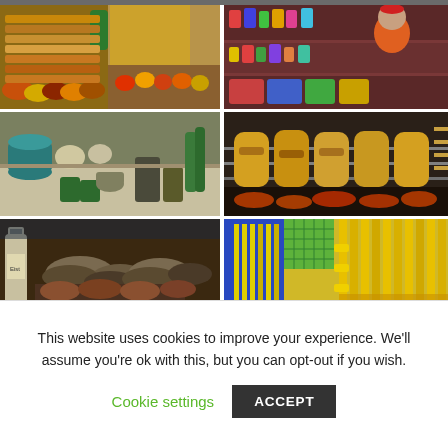[Figure (photo): Grid of 6 market/bazaar photos: spice/food stall, souvenir vendor, ceramics/pottery stall, grilled sausages on rotisserie, fish market stall, brooms and brushes stall]
This website uses cookies to improve your experience. We'll assume you're ok with this, but you can opt-out if you wish.
Cookie settings   ACCEPT